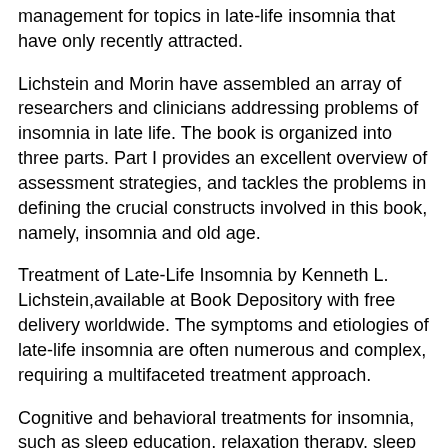management for topics in late-life insomnia that have only recently attracted.
Lichstein and Morin have assembled an array of researchers and clinicians addressing problems of insomnia in late life. The book is organized into three parts. Part I provides an excellent overview of assessment strategies, and tackles the problems in defining the crucial constructs involved in this book, namely, insomnia and old age.
Treatment of Late-Life Insomnia by Kenneth L. Lichstein,available at Book Depository with free delivery worldwide. The symptoms and etiologies of late-life insomnia are often numerous and complex, requiring a multifaceted treatment approach.
Cognitive and behavioral treatments for insomnia, such as sleep education, relaxation therapy, sleep hygiene, stimulus control, sleep restriction, and cognitive therapy (see Table ; Carney & Edinger, ), have demonstrated efficacy, with a Author: Christina S.
McCrae, Megan E. Petrov, Natalie Dautovich, Kenneth L. Lichstein. This chapter will provide an